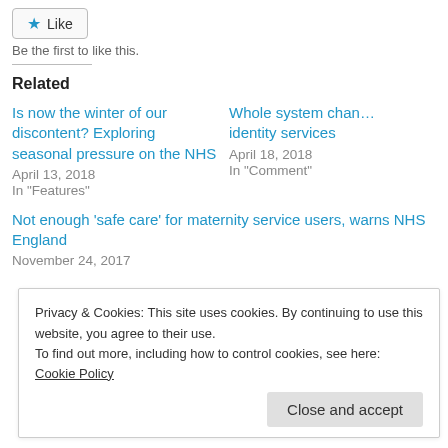Like
Be the first to like this.
Related
Is now the winter of our discontent? Exploring seasonal pressure on the NHS
April 13, 2018
In "Features"
Whole system chan... identity services
April 18, 2018
In "Comment"
Not enough ‘safe care’ for maternity service users, warns NHS England
November 24, 2017
Privacy & Cookies: This site uses cookies. By continuing to use this website, you agree to their use.
To find out more, including how to control cookies, see here: Cookie Policy
Close and accept